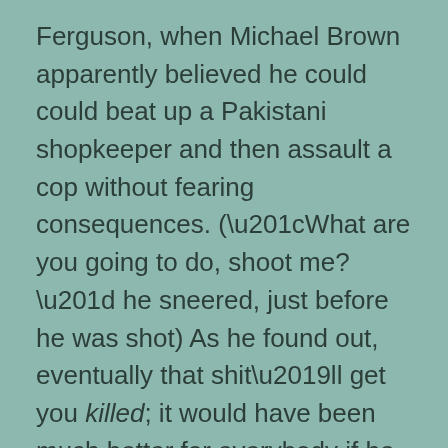Ferguson, when Michael Brown apparently believed he could could beat up a Pakistani shopkeeper and then assault a cop without fearing consequences. (“What are you going to do, shoot me?” he sneered, just before he was shot) As he found out, eventually that shit’ll get you killed; it would have been much better for everybody if he hadn’t been encouraged to believe that his skin color gave him a free pass.
I have no doubt that studiously blind press coverage was a significant enabler of that belief. The Michael Browns of the world may